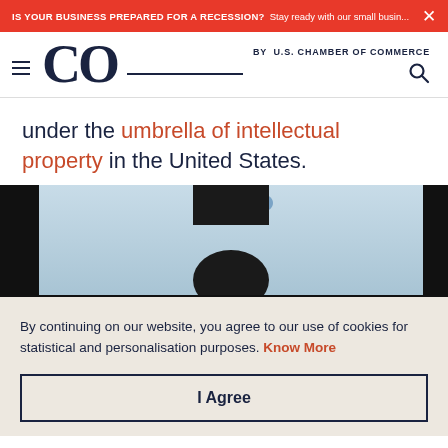IS YOUR BUSINESS PREPARED FOR A RECESSION? Stay ready with our small busin...
[Figure (logo): CO by U.S. Chamber of Commerce logo with hamburger menu and search icon]
under the umbrella of intellectual property in the United States.
[Figure (photo): Person silhouette against light blue sky background, cropped at top of head]
By continuing on our website, you agree to our use of cookies for statistical and personalisation purposes. Know More
I Agree